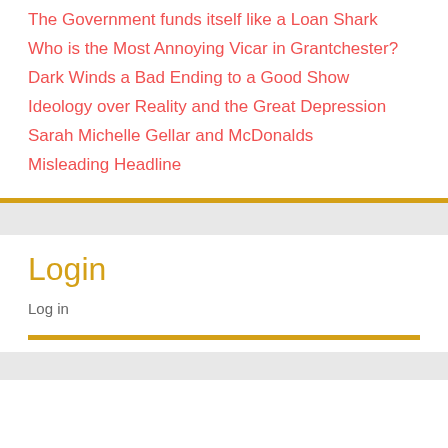The Government funds itself like a Loan Shark
Who is the Most Annoying Vicar in Grantchester?
Dark Winds a Bad Ending to a Good Show
Ideology over Reality and the Great Depression
Sarah Michelle Gellar and McDonalds
Misleading Headline
Login
Log in